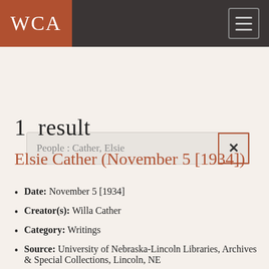WCA
People : Cather, Elsie
1 result
Elsie Cather (November 5 [1934])
Date: November 5 [1934]
Creator(s): Willa Cather
Category: Writings
Source: University of Nebraska-Lincoln Libraries, Archives & Special Collections, Lincoln, NE